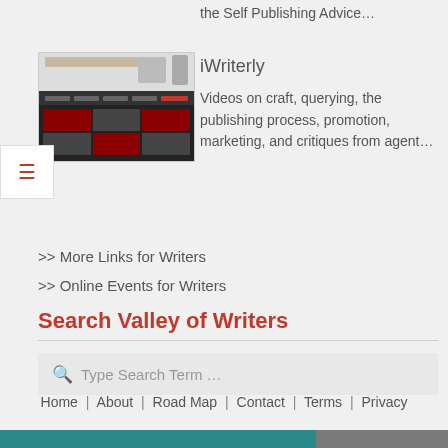the Self Publishing Advice…
[Figure (screenshot): Screenshot of iWriterly YouTube channel page showing video thumbnails on dark background]
iWriterly
Videos on craft, querying, the publishing process, promotion, marketing, and critiques from agent…
>> More Links for Writers
>> Online Events for Writers
Search Valley of Writers
Type Search Term …
Home | About | Road Map | Contact | Terms | Privacy